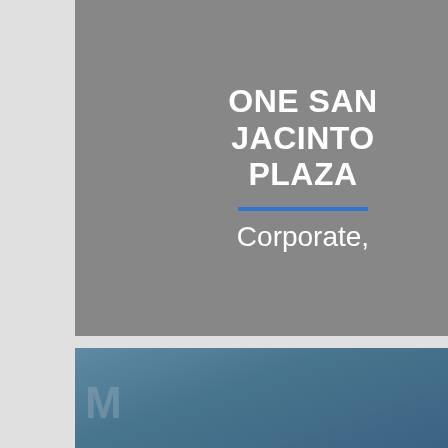[Figure (photo): Card for 'ONE SAN JACINTO PLAZA' with gray background, bold white title, blue horizontal line, and 'Corporate,' subtitle in white]
[Figure (photo): Card for 'Corporate, Data Centers' with gray background and white text]
[Figure (photo): Card for 'MARTIN LUTHER KING JR. COMMUNITY HOSPITAL' with building photo background for upper portion, overlaid bold white text for the building name, gray background below with 'Data Centers' subtitle and blue divider line]